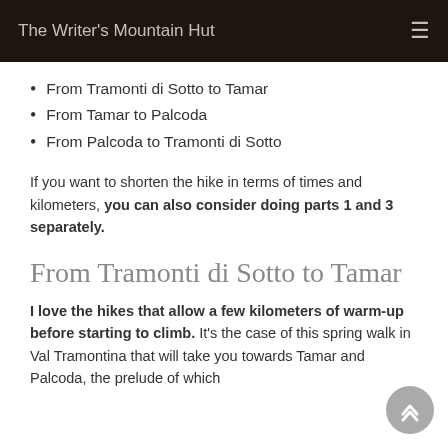The Writer's Mountain Hut
From Tramonti di Sotto to Tamar
From Tamar to Palcoda
From Palcoda to Tramonti di Sotto
If you want to shorten the hike in terms of times and kilometers, you can also consider doing parts 1 and 3 separately.
From Tramonti di Sotto to Tamar
I love the hikes that allow a few kilometers of warm-up before starting to climb. It's the case of this spring walk in Val Tramontina that will take you towards Tamar and Palcoda, the prelude of which